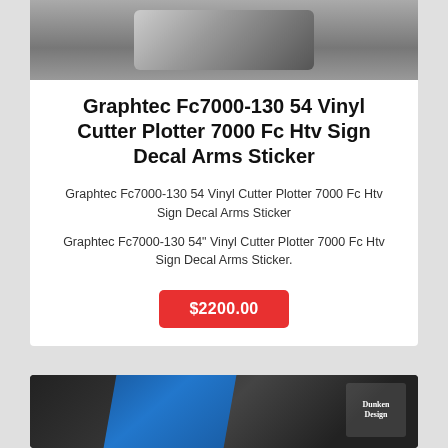[Figure (photo): Top portion of a vinyl cutter plotter machine on grey background]
Graphtec Fc7000-130 54 Vinyl Cutter Plotter 7000 Fc Htv Sign Decal Arms Sticker
Graphtec Fc7000-130 54 Vinyl Cutter Plotter 7000 Fc Htv Sign Decal Arms Sticker
Graphtec Fc7000-130 54" Vinyl Cutter Plotter 7000 Fc Htv Sign Decal Arms Sticker.
$2200.00
[Figure (photo): Bottom portion showing a decorative flag design with blue stripe on dark background, with Dunken Design brand badge]